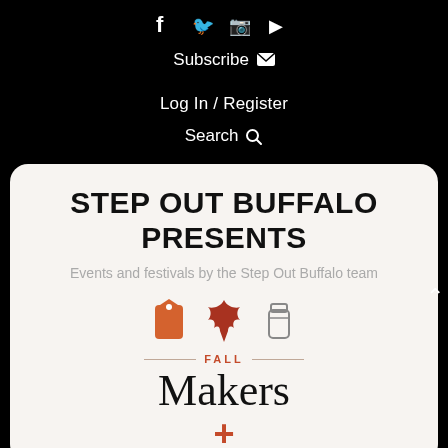Social icons (Facebook, Twitter, Instagram, and another icon)
Subscribe ✉
Log In / Register
Search 🔍
STEP OUT BUFFALO PRESENTS
Events and festivals by the Step Out Buffalo team
[Figure (illustration): Three icons: a price tag (orange), a fall maple leaf (dark red/orange), and a cocktail shaker (outlined). Below them a divider line with 'FALL' text in the center. Below that the word 'Makers' in serif font and a '+' symbol in red/orange.]
FALL
Makers
+